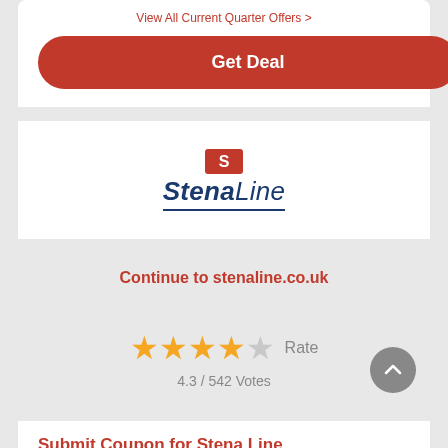View All Current Quarter Offers >
Get Deal
[Figure (logo): Stena Line logo with red flag icon above the italic bold navy blue text 'Stena Line' with underline]
Continue to stenaline.co.uk
4 filled stars, 1 empty star, Rate
4.3 / 542 Votes
Submit Coupon for Stena Line